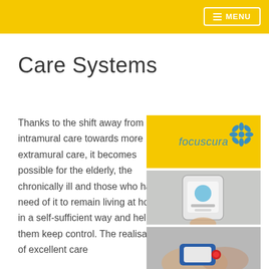MENU
Care Systems
Thanks to the shift away from intramural care towards more extramural care, it becomes possible for the elderly, the chronically ill and those who have need of it to remain living at home in a self-sufficient way and helping them keep control. The realisation of excellent care
[Figure (logo): Focuscura logo on yellow background with blue flower/snowflake icon]
[Figure (photo): Hand holding a smartphone showing a health monitoring app]
[Figure (photo): Elderly person's wrist wearing a red-button emergency alert watch]
[Figure (photo): Partial view of another care-related image at bottom]